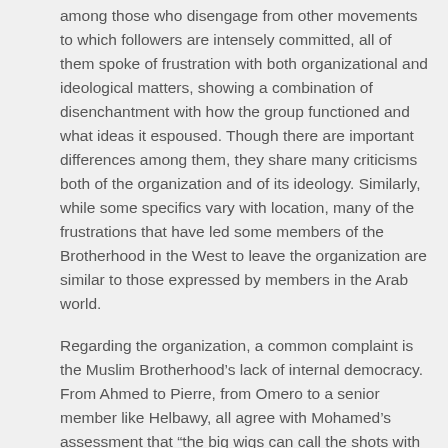among those who disengage from other movements to which followers are intensely committed, all of them spoke of frustration with both organizational and ideological matters, showing a combination of disenchantment with how the group functioned and what ideas it espoused. Though there are important differences among them, they share many criticisms both of the organization and of its ideology. Similarly, while some specifics vary with location, many of the frustrations that have led some members of the Brotherhood in the West to leave the organization are similar to those expressed by members in the Arab world.
Regarding the organization, a common complaint is the Muslim Brotherhood's lack of internal democracy. From Ahmed to Pierre, from Omero to a senior member like Helbawy, all agree with Mohamed's assessment that “the big wigs can call the shots with a phone call,